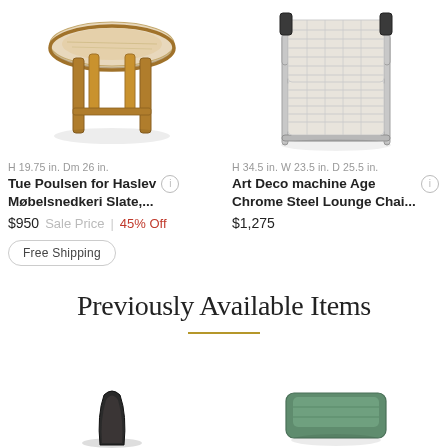[Figure (photo): Wooden round side table with stone top, on four legs, viewed from slight angle]
H 19.75 in. Dm 26 in.
Tue Poulsen for Haslev Møbelsnedkeri Slate,...
$950 Sale Price | 45% Off
Free Shipping
[Figure (photo): Art Deco chrome steel lounge chair with woven/knit upholstery and dark armrests]
H 34.5 in. W 23.5 in. D 25.5 in.
Art Deco machine Age Chrome Steel Lounge Chai...
$1,275
Previously Available Items
[Figure (photo): Partial view of dark object (bottom left thumbnail)]
[Figure (photo): Partial view of green/teal upholstered piece (bottom right thumbnail)]